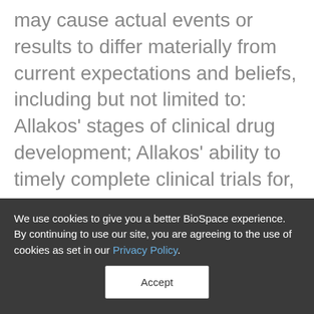important factors, risks and uncertainties that may cause actual events or results to differ materially from current expectations and beliefs, including but not limited to: Allakos' stages of clinical drug development; Allakos' ability to timely complete clinical trials for, and if approved, commercialize lirentelimab (AK002), its lead compound; Allakos' ability to obtain required regulatory approvals for its product candidates; uncertainties related to the enrollment of patients
We use cookies to give you a better BioSpace experience. By continuing to use our site, you are agreeing to the use of cookies as set in our Privacy Policy.
Accept